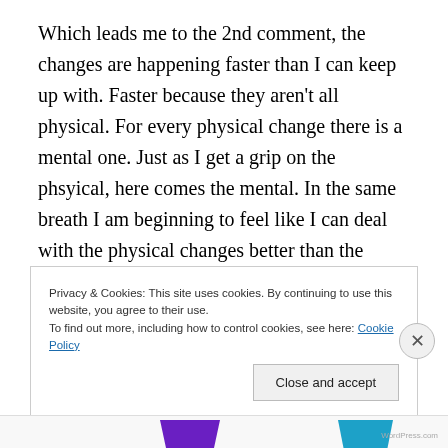Which leads me to the 2nd comment, the changes are happening faster than I can keep up with. Faster because they aren't all physical. For every physical change there is a mental one. Just as I get a grip on the phsyical, here comes the mental. In the same breath I am beginning to feel like I can deal with the physical changes better than the mental ones. Take away Mom's ability to walk but don't take away Mom. Her spirit. Her personality. Start messing
Privacy & Cookies: This site uses cookies. By continuing to use this website, you agree to their use.
To find out more, including how to control cookies, see here: Cookie Policy